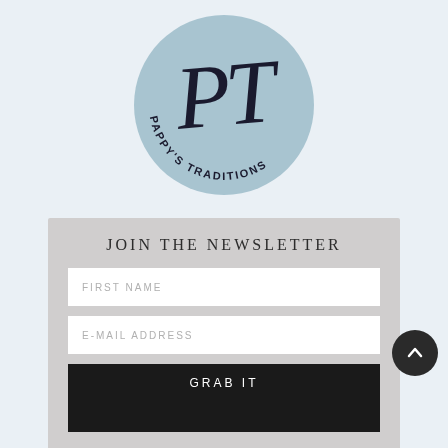[Figure (logo): Pappy's Traditions logo — circular light blue badge with script PT monogram and text 'PAPPY'S TRADITIONS' around the bottom arc]
JOIN THE NEWSLETTER
FIRST NAME
E-MAIL ADDRESS
GRAB IT
[Figure (illustration): Social media icons row: Facebook, Instagram, Pinterest — grey rounded square icons]